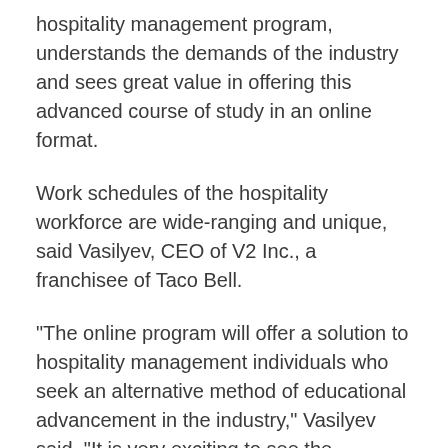hospitality management program, understands the demands of the industry and sees great value in offering this advanced course of study in an online format.
Work schedules of the hospitality workforce are wide-ranging and unique, said Vasilyev, CEO of V2 Inc., a franchisee of Taco Bell.
"The online program will offer a solution to hospitality management individuals who seek an alternative method of educational advancement in the industry," Vasilyev said. "It is very exciting to see the program continue to grow and evolve since my time as the first freshman to enroll in hospitality